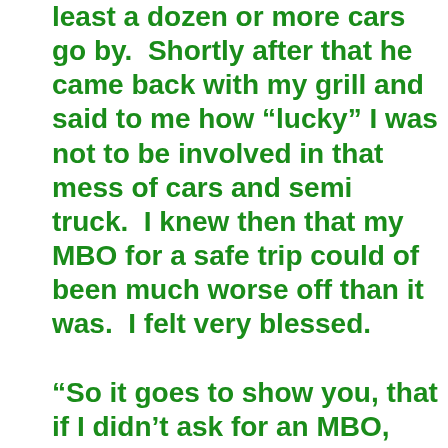least a dozen or more cars go by.  Shortly after that he came back with my grill and said to me how “lucky” I was not to be involved in that mess of cars and semi truck.  I knew then that my MBO for a safe trip could of been much worse off than it was.  I felt very blessed.

“So it goes to show you, that if I didn’t ask for an MBO, things could of been much